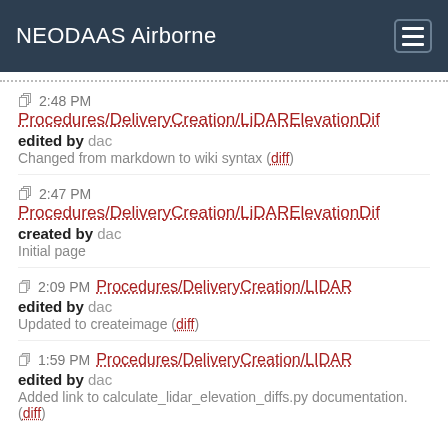NEODAAS Airborne
2:48 PM Procedures/DeliveryCreation/LiDARElevationDif… edited by dac — Changed from markdown to wiki syntax (diff)
2:47 PM Procedures/DeliveryCreation/LiDARElevationDif… created by dac — Initial page
2:09 PM Procedures/DeliveryCreation/LIDAR edited by dac — Updated to createimage (diff)
1:59 PM Procedures/DeliveryCreation/LIDAR edited by dac — Added link to calculate_lidar_elevation_diffs.py documentation. (diff)